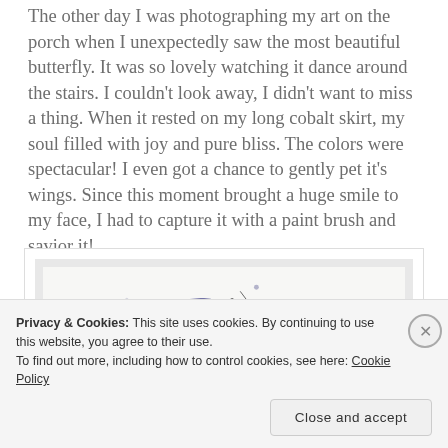The other day I was photographing my art on the porch when I unexpectedly saw the most beautiful butterfly. It was so lovely watching it dance around the stairs. I couldn't look away, I didn't want to miss a thing. When it rested on my long cobalt skirt, my soul filled with joy and pure bliss. The colors were spectacular! I even got a chance to gently pet it's wings. Since this moment brought a huge smile to my face, I had to capture it with a paint brush and savior it!
[Figure (photo): A framed abstract watercolor painting of a butterfly with blue, orange, and purple wing colors against a white background with paint splatters and thin lines.]
Privacy & Cookies: This site uses cookies. By continuing to use this website, you agree to their use.
To find out more, including how to control cookies, see here: Cookie Policy